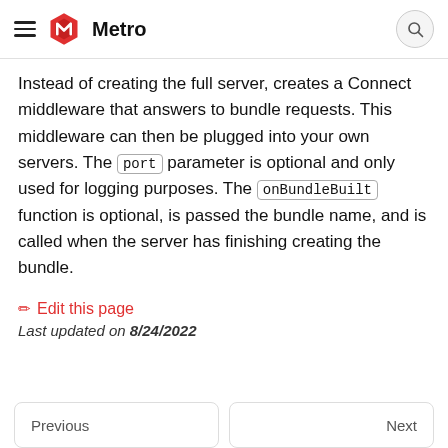Metro
Instead of creating the full server, creates a Connect middleware that answers to bundle requests. This middleware can then be plugged into your own servers. The port parameter is optional and only used for logging purposes. The onBundleBuilt function is optional, is passed the bundle name, and is called when the server has finishing creating the bundle.
✏ Edit this page
Last updated on 8/24/2022
Previous | Next